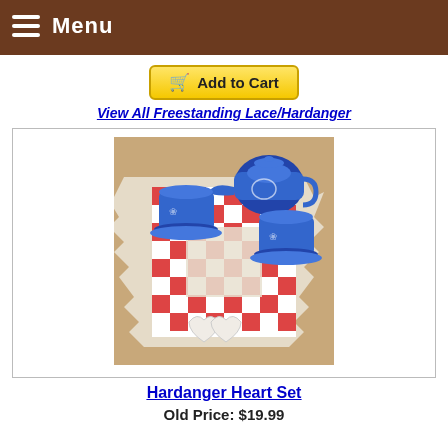Menu
[Figure (other): Add to Cart button with shopping cart icon]
View All Freestanding Lace/Hardanger
[Figure (photo): Hardanger Heart Set product photo showing a lace table runner with red and white checkered pattern and blue and white tea set on top]
Hardanger Heart Set
Old Price: $19.99